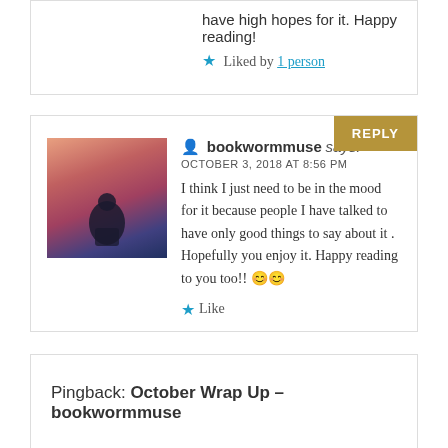have high hopes for it. Happy reading!
★ Liked by 1 person
REPLY
bookwormmuse says:
OCTOBER 3, 2018 AT 8:56 PM
I think I just need to be in the mood for it because people I have talked to have only good things to say about it . Hopefully you enjoy it. Happy reading to you too!! 😊😊
Like
Pingback: October Wrap Up – bookwormmuse